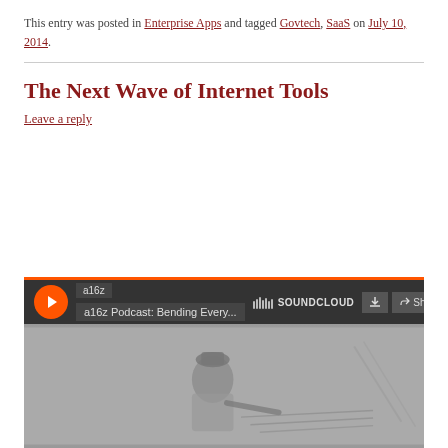This entry was posted in Enterprise Apps and tagged Govtech, SaaS on July 10, 2014.
The Next Wave of Internet Tools
Leave a reply
[Figure (screenshot): SoundCloud embedded player showing a16z Podcast: Bending Every... with play button, download and share buttons, and a vintage illustration of a person writing]